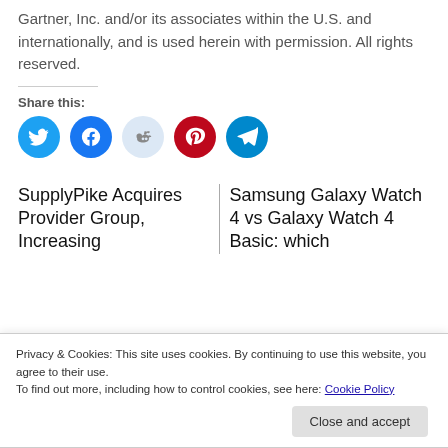Gartner, Inc. and/or its associates within the U.S. and internationally, and is used herein with permission. All rights reserved.
Share this:
[Figure (infographic): Row of five social share icon circles: Twitter (blue), Facebook (dark blue), Reddit (light blue/grey), Pinterest (red), Telegram (teal)]
SupplyPike Acquires Provider Group, Increasing
Samsung Galaxy Watch 4 vs Galaxy Watch 4 Basic: which
Privacy & Cookies: This site uses cookies. By continuing to use this website, you agree to their use.
To find out more, including how to control cookies, see here: Cookie Policy
Close and accept